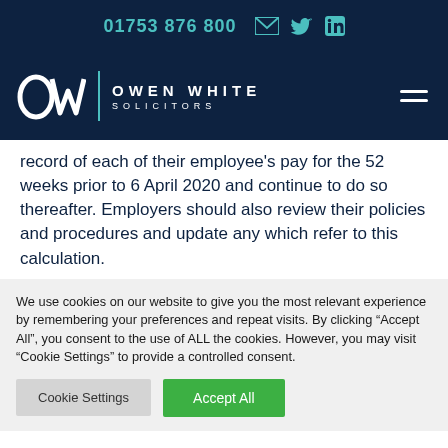01753 876 800
[Figure (logo): Owen White Solicitors logo with OW monogram on dark navy background]
record of each of their employee's pay for the 52 weeks prior to 6 April 2020 and continue to do so thereafter. Employers should also review their policies and procedures and update any which refer to this calculation.
We use cookies on our website to give you the most relevant experience by remembering your preferences and repeat visits. By clicking "Accept All", you consent to the use of ALL the cookies. However, you may visit "Cookie Settings" to provide a controlled consent.